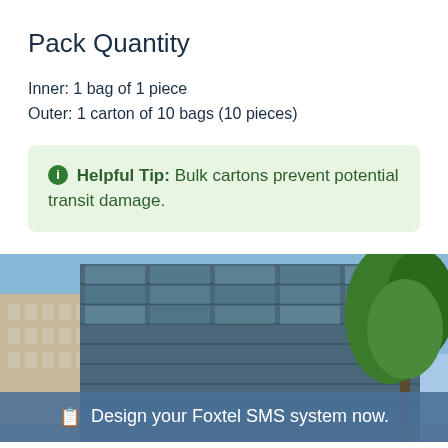Pack Quantity
Inner: 1 bag of 1 piece
Outer: 1 carton of 10 bags (10 pieces)
Helpful Tip: Bulk cartons prevent potential transit damage.
[Figure (photo): Exterior view of modern glass office buildings against a blue sky with green trees on the right side. A call-to-action bar overlays the bottom reading 'Design your Foxtel SMS system now.']